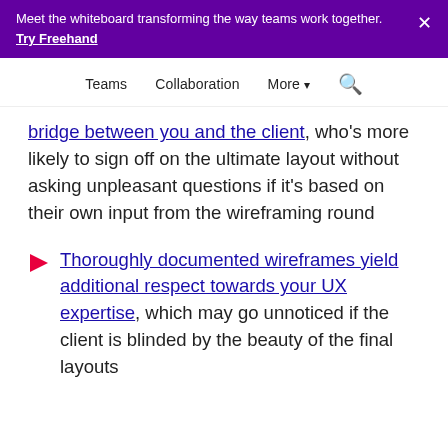Meet the whiteboard transforming the way teams work together. Try Freehand
Teams  Collaboration  More  🔍
bridge between you and the client, who's more likely to sign off on the ultimate layout without asking unpleasant questions if it's based on their own input from the wireframing round
Thoroughly documented wireframes yield additional respect towards your UX expertise, which may go unnoticed if the client is blinded by the beauty of the final layouts